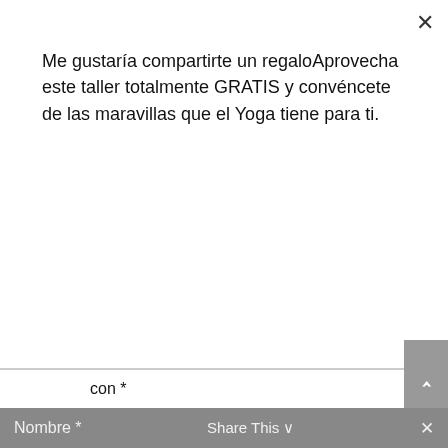× (close button)
Me gustaría compartirte un regaloAprovecha este taller totalmente GRATIS y convéncete de las maravillas que el Yoga tiene para ti.
[Figure (other): Purple call-to-action button labeled ¡Lo Quiero!]
con *
[Figure (screenshot): Large light-gray textarea input field with placeholder text 'Comentario *' and a resize handle in the bottom-right corner]
[Figure (other): Gray scroll-to-top button with upward caret arrow (^) on the right side]
Nombre *
Share This ∨
×